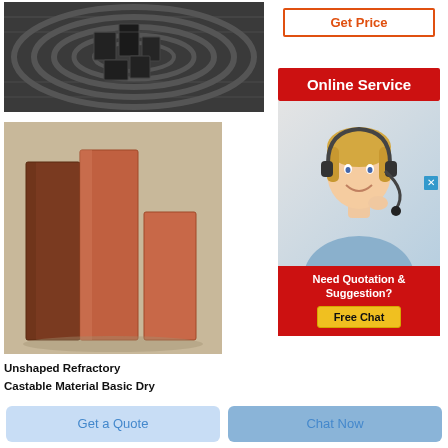[Figure (photo): Dark refractory bricks or blocks inside a cylindrical industrial furnace or kiln, viewed from above]
[Figure (photo): Three tall rectangular refractory bricks in brown/terracotta color standing upright on a concrete surface]
Unshaped Refractory Castable Material Basic Dry
[Figure (infographic): Online Service banner with red background, close button, customer service agent photo (blonde woman with headset), and a Need Quotation & Suggestion? Free Chat button]
Get Price
Get a Quote
Chat Now